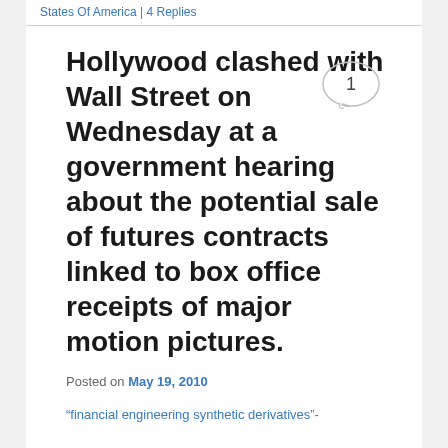States Of America | 4 Replies
Hollywood clashed with Wall Street on Wednesday at a government hearing about the potential sale of futures contracts linked to box office receipts of major motion pictures.
Posted on May 19, 2010
&#8220;financial engineering synthetic derivatives&#8221;-